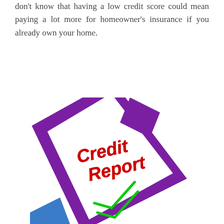don't know that having a low credit score could mean paying a lot more for homeowner's insurance if you already own your home.
[Figure (illustration): Illustration of a credit report document tilted at an angle, with a purple border/folder, white paper showing 'Credit Report' text in red italic bold font and green checkmarks on the document. A blue folder tab is visible at the bottom left.]